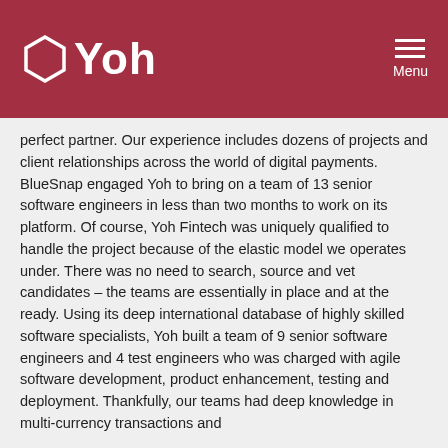[Figure (logo): Yoh company logo: hexagonal outline icon in white followed by 'Yoh' text in white, on dark red header background. Menu icon (three horizontal lines) with 'Menu' label at top right.]
perfect partner. Our experience includes dozens of projects and client relationships across the world of digital payments.
BlueSnap engaged Yoh to bring on a team of 13 senior software engineers in less than two months to work on its platform. Of course, Yoh Fintech was uniquely qualified to handle the project because of the elastic model we operates under. There was no need to search, source and vet candidates – the teams are essentially in place and at the ready. Using its deep international database of highly skilled software specialists, Yoh built a team of 9 senior software engineers and 4 test engineers who was charged with agile software development, product enhancement, testing and deployment. Thankfully, our teams had deep knowledge in multi-currency transactions and